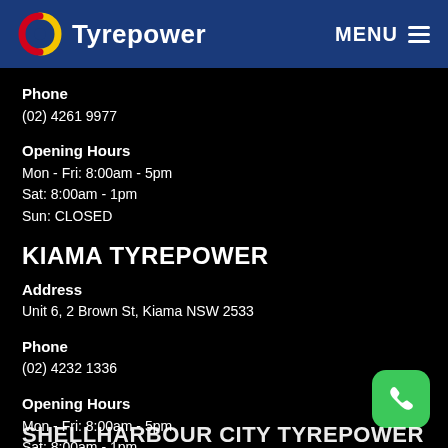Tyrepower  MENU
Phone
(02) 4261 9977
Opening Hours
Mon - Fri: 8:00am - 5pm
Sat: 8:00am - 1pm
Sun: CLOSED
KIAMA TYREPOWER
Address
Unit 6, 2 Brown St, Kiama NSW 2533
Phone
(02) 4232 1336
Opening Hours
Mon - Fri: 8:00am - 5pm
Sat: 8:00am - 1pm
Sun: CLOSED